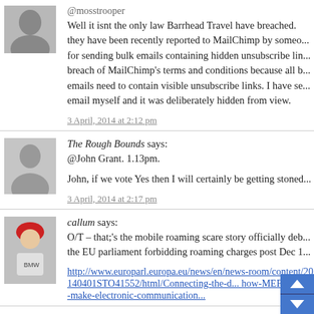@mosstrooper
Well it isnt the only law Barrhead Travel have breached. they have been recently reported to MailChimp by someone for sending bulk emails containing hidden unsubscribe links breach of MailChimp's terms and conditions because all bulk emails need to contain visible unsubscribe links. I have seen the email myself and it was deliberately hidden from view.
3 April, 2014 at 2:12 pm
The Rough Bounds says:
@John Grant. 1.13pm.

John, if we vote Yes then I will certainly be getting stoned...
3 April, 2014 at 2:17 pm
callum says:
O/T – that;'s the mobile roaming scare story officially debunked – the EU parliament forbidding roaming charges post Dec 1...
http://www.europarl.europa.eu/news/en/news-room/content/20140401STO41552/html/Connecting-the-dots-how-MEPs-could-make-electronic-communication...